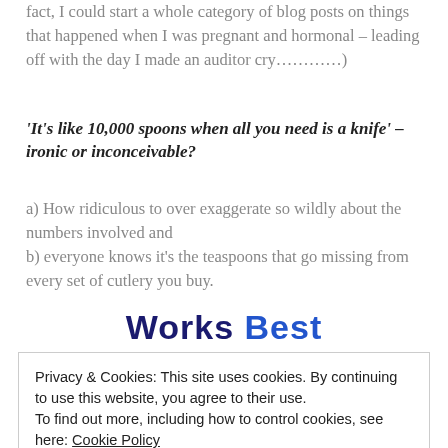fact, I could start a whole category of blog posts on things that happened when I was pregnant and hormonal – leading off with the day I made an auditor cry…………)
'It's like 10,000 spoons when all you need is a knife' – ironic or inconceivable?
a) How ridiculous to over exaggerate so wildly about the numbers involved and
b) everyone knows it's the teaspoons that go missing from every set of cutlery you buy.
[Figure (other): Partial heading text showing 'Works Best' in bold dark blue/blue font, partially cropped]
Privacy & Cookies: This site uses cookies. By continuing to use this website, you agree to their use.
To find out more, including how to control cookies, see here: Cookie Policy
Close and accept